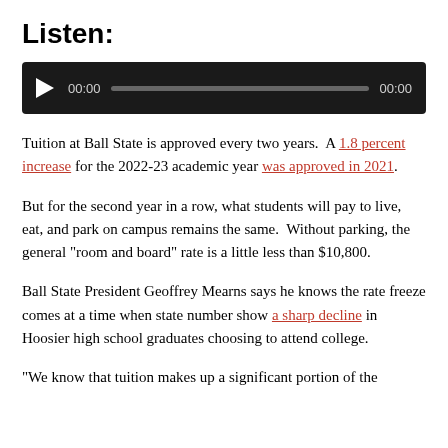Listen:
[Figure (other): Audio player widget with play button, time display 00:00, progress bar, and end time 00:00 on dark background]
Tuition at Ball State is approved every two years. A 1.8 percent increase for the 2022-23 academic year was approved in 2021.
But for the second year in a row, what students will pay to live, eat, and park on campus remains the same. Without parking, the general "room and board" rate is a little less than $10,800.
Ball State President Geoffrey Mearns says he knows the rate freeze comes at a time when state number show a sharp decline in Hoosier high school graduates choosing to attend college.
"We know that tuition makes up a significant portion of the